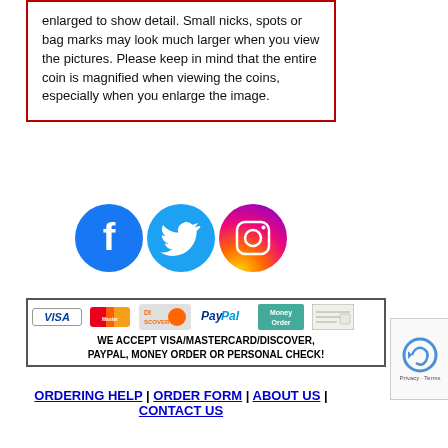enlarged to show detail. Small nicks, spots or bag marks may look much larger when you view the pictures. Please keep in mind that the entire coin is magnified when viewing the coins, especially when you enlarge the image.
[Figure (illustration): Social media icons: Facebook (blue circle with f logo), Twitter (blue circle with bird logo), Instagram (gradient circle with camera logo)]
[Figure (infographic): Payment methods banner showing Visa, MasterCard, Discover, PayPal, Money Order, and Personal Check logos with text: WE ACCEPT VISA/MASTERCARD/DISCOVER, PAYPAL, MONEY ORDER OR PERSONAL CHECK!]
ORDERING HELP | ORDER FORM | ABOUT US | CONTACT US